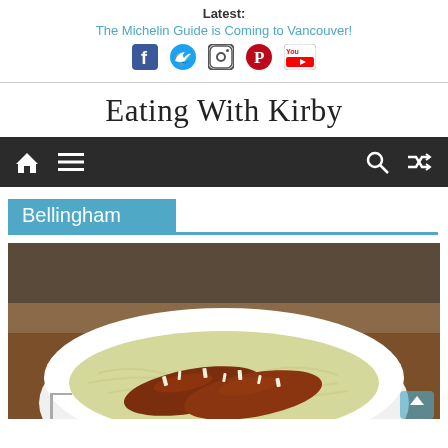Latest: The Michelin Guide is Coming to Vancouver!
[Figure (logo): Social media icons: Facebook, Twitter, Instagram, Pinterest, YouTube]
Eating With Kirby
[Figure (infographic): Navigation bar with home icon, hamburger menu, search icon, and shuffle icon on dark background]
Bellingham
[Figure (photo): Food photo showing a white bowl with pasta and sausages topped with grated cheese, on a wooden table]